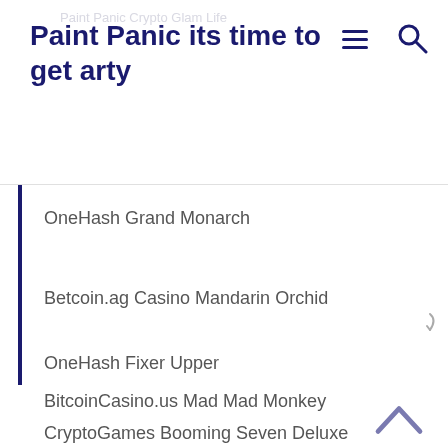Paint Panic its time to get arty
OneHash Grand Monarch
Betcoin.ag Casino Mandarin Orchid
OneHash Fixer Upper
BitcoinCasino.us Mad Mad Monkey
CryptoGames Booming Seven Deluxe